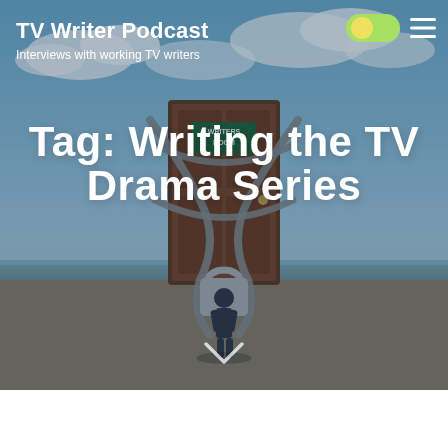[Figure (screenshot): Hero background image of a chained door with 'Writers Room' sign, chains, a padlock, and a figure standing in front in a surreal desert/ocean landscape with cloudy sky.]
TV Writer Podcast
Interviews with working TV writers
Tag: Writing the TV Drama Series